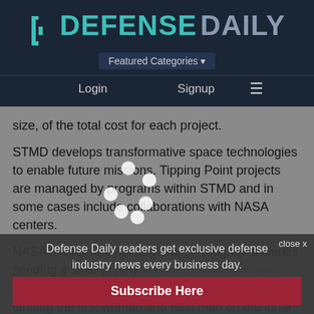DEFENSE DAILY
Featured Categories
Login   Signup   ≡
size, of the total cost for each project.
STMD develops transformative space technologies to enable future missions. Tipping Point projects are managed by programs within STMD and in some cases include collaborations with NASA centers.
NASA's Artemis lunar exploration program includes sending a suite of new science instruments and technology demonstrations to study the Moon, landing the first woman and next man on the lunar surface by 2024 and 2026, respectively. The agency will use new technologies and lunar resources to enable sustainable crewed operations on and near the Moon leading up to an eventual crewed mission to Mars – sending astronauts to Mars.
Defense Daily readers get exclusive defense industry news every business day.
Subscribe Here